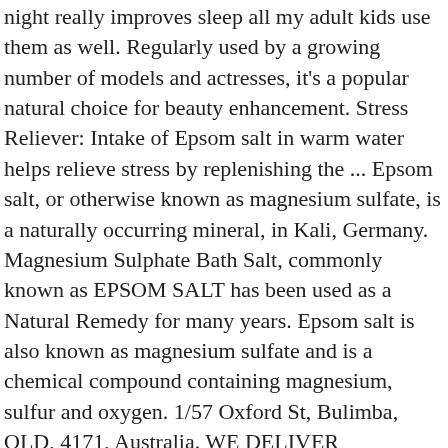night really improves sleep all my adult kids use them as well. Regularly used by a growing number of models and actresses, it's a popular natural choice for beauty enhancement. Stress Reliever: Intake of Epsom salt in warm water helps relieve stress by replenishing the ... Epsom salt, or otherwise known as magnesium sulfate, is a naturally occurring mineral, in Kali, Germany. Magnesium Sulphate Bath Salt, commonly known as EPSOM SALT has been used as a Natural Remedy for many years. Epsom salt is also known as magnesium sulfate and is a chemical compound containing magnesium, sulfur and oxygen. 1/57 Oxford St, Bulimba, QLD, 4171, Australia. WE DELIVER AUSTRALIA WIDE FIND OUT MORE. 100% Natural, Food Grade Epsom Salts, sustainably extracted from natural deposits in Germany. Press question mark to learn the rest of the keyboard shortcuts . Seller assumes all responsibility for this listing. We supply high quality Epsom Salt. You can also use the salt for bath to get great benefits. EPSOM SALTS SOLD IN BULK. Use it around the home as an alternative cleaner or dilute in water to